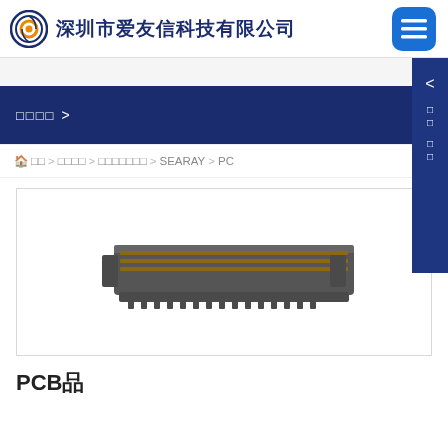深圳市爱友信科技有限公司
□□□□ >
🏠 □□ > □□□□ > □□□□□□□ > SEARAY > PC
[Figure (photo): Photo of a PCB connector component - a long rectangular dark grey/brown connector with multiple pins arranged in rows]
PCB品